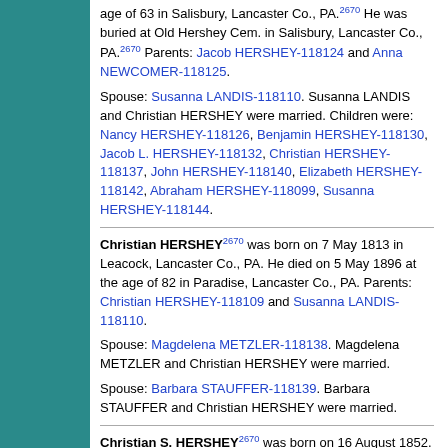age of 63 in Salisbury, Lancaster Co., PA.[2670] He was buried at Old Hershey Cem. in Salisbury, Lancaster Co., PA.[2670] Parents: Jacob HERSHEY-118124 and Anna NEWCOMER-118125.
Spouse: Susanna LANDIS-118110. Susanna LANDIS and Christian HERSHEY were married. Children were: Nancy HERSHEY-118126, Benjamin HERSHEY-118130, Jacob L. HERSHEY-118132, Christian HERSHEY-118137, John HERSHEY-118140, Elizabeth HERSHEY-118142, Abraham HERSHEY-118099, Susanna HERSHEY-118144.
Christian HERSHEY[2670] was born on 7 May 1813 in Leacock, Lancaster Co., PA. He died on 5 May 1896 at the age of 82 in Paradise, Lancaster Co., PA. Parents: Christian HERSHEY-118109 and Susanna LANDIS-118110.
Spouse: Magdelena METZLER-118138. Magdelena METZLER and Christian HERSHEY were married.
Spouse: Barbara STAUFFER-118139. Barbara STAUFFER and Christian HERSHEY were married.
Christian S. HERSHEY[2670] was born on 16 August 1852. He died on 27 April 1912 at the age of 59. Parents: Abraham HERSHEY-118099 and Barbara EBY-118100.
Spouse: Elizabeth KREIDER-118119. Elizabeth KREIDER and Christian S. HERSHEY were married.